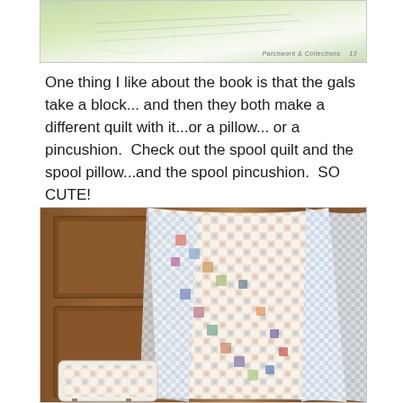[Figure (photo): Top partial image of a book page with green/white background showing quilting designs]
One thing I like about the book is that the gals take a block...and then they both make a different quilt with it...or a pillow...or a pincushion.  Check out the spool quilt and the spool pillow...and the spool pincushion.  SO CUTE!
[Figure (photo): Photo of a colorful spool quilt draped over a wooden door with a matching pillow on a stool below, featuring patchwork squares and spool blocks in blues, pinks, yellows, and other colors]